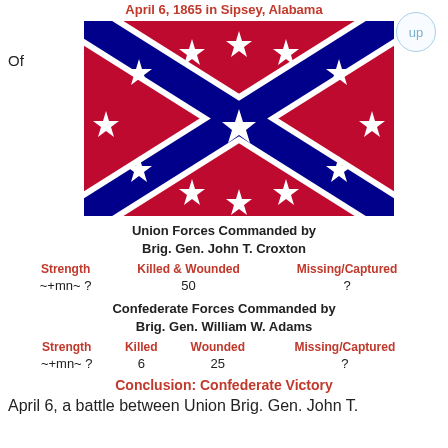April 6, 1865 in Sipsey, Alabama
[Figure (illustration): Confederate Battle Flag (Battle Flag of the Army of Northern Virginia) — red background with blue St. Andrew's cross edged in white, 13 white stars on the cross]
Of
Union Forces Commanded by
Brig. Gen. John T. Croxton
| Strength | Killed & Wounded | Missing/Captured |
| --- | --- | --- |
| ~+mn~ ? | 50 | ? |
Confederate Forces Commanded by
Brig. Gen. William W. Adams
| Strength | Killed | Wounded | Missing/Captured |
| --- | --- | --- | --- |
| ~+mn~ ? | 6 | 25 | ? |
Conclusion: Confederate Victory
April 6, a battle between Union Brig. Gen. John T.